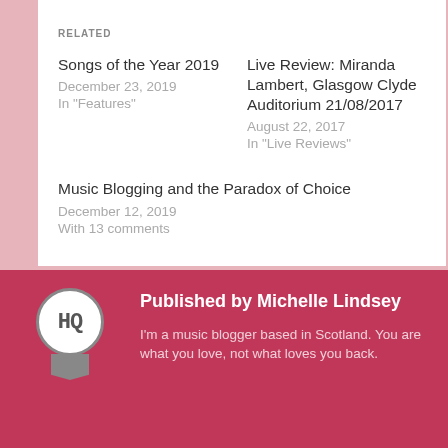RELATED
Songs of the Year 2019
December 23, 2019
In "Features"
Live Review: Miranda Lambert, Glasgow Clyde Auditorium 21/08/2017
August 22, 2017
In "Live Reviews"
Music Blogging and the Paradox of Choice
December 12, 2019
With 13 comments
Published by Michelle Lindsey
I'm a music blogger based in Scotland. You are what you love, not what loves you back.